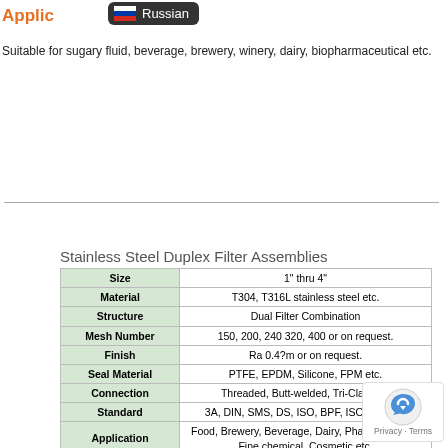Applic Russian
Suitable for sugary fluid, beverage, brewery, winery, dairy, biopharmaceutical etc.
Stainless Steel Duplex Filter Assemblies
|  |  |
| --- | --- |
| Size | 1" thru 4" |
| Material | T304, T316L stainless steel etc. |
| Structure | Dual Filter Combination |
| Mesh Number | 150, 200, 240 320, 400 or on request. |
| Finish | Ra 0.4?m or on request. |
| Seal Material | PTFE, EPDM, Silicone, FPM etc. |
| Connection | Threaded, Butt-welded, Tri-Clamped |
| Standard | 3A, DIN, SMS, DS, ISO, BPF, ISO, IDF etc. |
| Application | Food, Brewery, Beverage, Dairy, Pharmaceutical, Fine chemical, Cosmetic etc. |
| How to order | *Products Name
*Dimension
*Material
*Quantity
*Standard
*Polish requests |